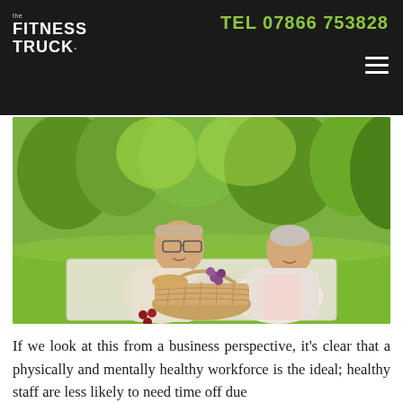the FITNESS TRUCK — TEL 07866 753828
[Figure (photo): An older couple sitting on a picnic blanket in a park, sharing grapes from a basket. There is a wicker picnic basket in front of them. The background shows green trees and grass in sunlight.]
If we look at this from a business perspective, it's clear that a physically and mentally healthy workforce is the ideal; healthy staff are less likely to need time off due